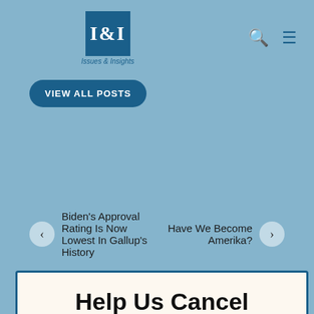I&I Issues & Insights
VIEW ALL POSTS
Biden's Approval Rating Is Now Lowest In Gallup's History
Have We Become Amerika?
Help Us Cancel Google
You may have noticed that we've stripped a lot of the ads off our site. They were annoying to us and to readers, and we especially hate dealing with Google's content police.
We'd rather rely on our readers to support our work directly than get pennies from giant ad networks.
We won't charge you to access our content, but you can help us keep this site going with a donation.